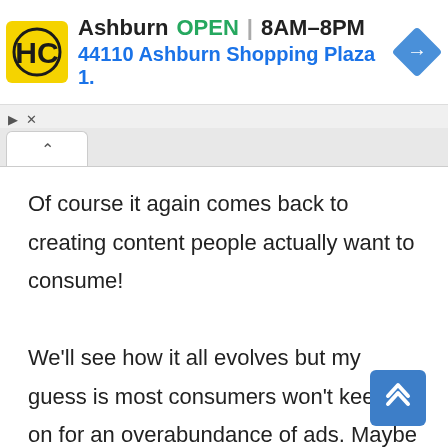[Figure (screenshot): Ad banner for Hairclub Ashburn location showing logo, OPEN status, hours 8AM-8PM, address 44110 Ashburn Shopping Plaza 1., and a blue navigation diamond icon]
Of course it again comes back to creating content people actually want to consume!

We'll see how it all evolves but my guess is most consumers won't keep it on for an overabundance of ads. Maybe it'll push us all to do even better storytelling.